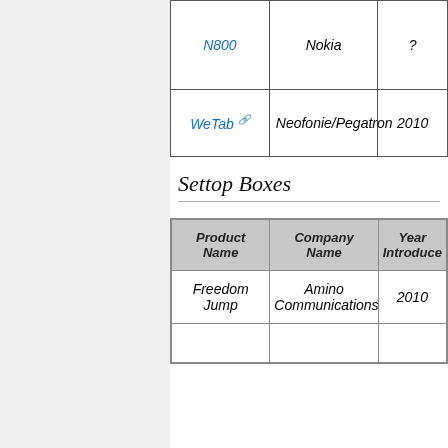| Product Name | Company Name | Year Introduced |
| --- | --- | --- |
| N800 | Nokia | ? |
| WeTab | Neofonie/Pegatron | 2010 |
Settop Boxes
| Product Name | Company Name | Year Introduced |
| --- | --- | --- |
| Freedom Jump | Amino Communications | 2010 |